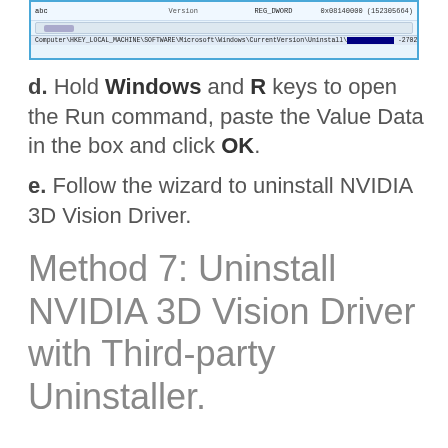[Figure (screenshot): Windows Registry Editor screenshot showing a registry entry for Version with REG_DWORD type and value 0x08140000 (152305664), with path Computer\HKEY_LOCAL_MACHINE\SOFTWARE\Microsoft\Windows\CurrentVersion\Uninstall\[key] -2702-0023-000001000000]
d. Hold Windows and R keys to open the Run command, paste the Value Data in the box and click OK.
e. Follow the wizard to uninstall NVIDIA 3D Vision Driver.
Method 7: Uninstall NVIDIA 3D Vision Driver with Third-party Uninstaller.